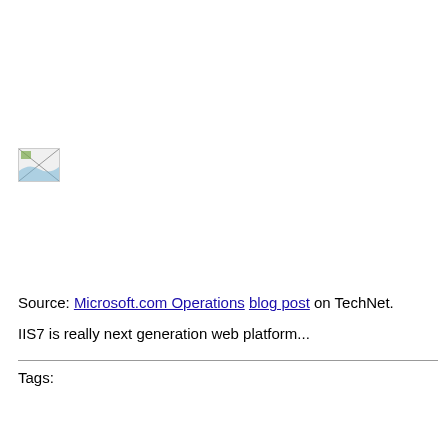W2K3 SP...
W2K8 RT...
[Figure (photo): Small broken/placeholder image icon in upper left area]
Load Bala...
W2K3 SP...
W2K8 RT... same amo...
.NET CLR...
W2K3 SP...
W2K8 RT...
Source: Microsoft.com Operations blog post on TechNet.
IIS7 is really next generation web platform...
Tags: